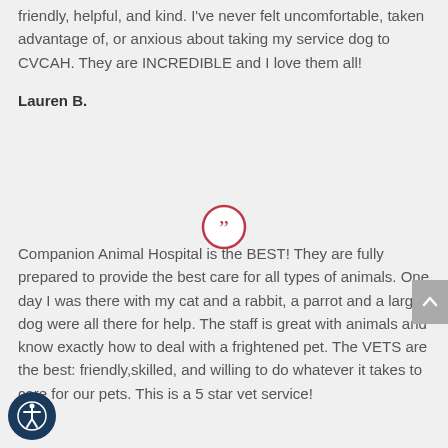friendly, helpful, and kind. I've never felt uncomfortable, taken advantage of, or anxious about taking my service dog to CVCAH. They are INCREDIBLE and I love them all!
Lauren B.
[Figure (illustration): Red circle with closing double quotation mark symbol inside]
Companion Animal Hospital is the BEST! They are fully prepared to provide the best care for all types of animals. One day I was there with my cat and a rabbit, a parrot and a large dog were all there for help. The staff is great with animals and know exactly how to deal with a frightened pet. The VETS are the best: friendly,skilled, and willing to do whatever it takes to care for our pets. This is a 5 star vet service!